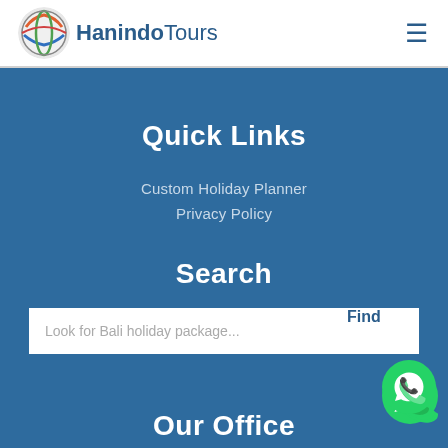HanindoTours
Quick Links
Custom Holiday Planner
Privacy Policy
Search
Look for Bali holiday package...
Our Office